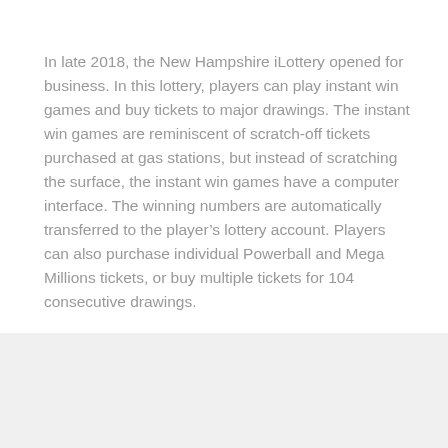In late 2018, the New Hampshire iLottery opened for business. In this lottery, players can play instant win games and buy tickets to major drawings. The instant win games are reminiscent of scratch-off tickets purchased at gas stations, but instead of scratching the surface, the instant win games have a computer interface. The winning numbers are automatically transferred to the player's lottery account. Players can also purchase individual Powerball and Mega Millions tickets, or buy multiple tickets for 104 consecutive drawings.